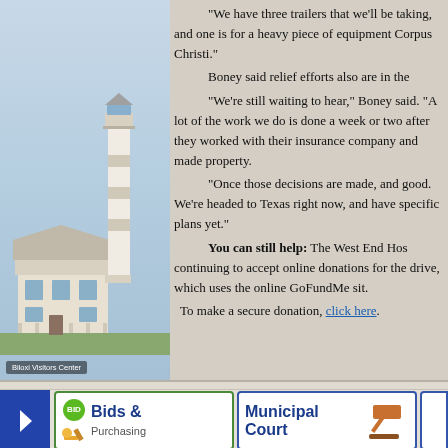“We have three trailers that we’ll be taking, and one is for a heavy piece of equipment to Corpus Christi.”
Boney said relief efforts also are in the works.
“We’re still waiting to hear,” Boney said. “A lot of the work we do is done a week or two after the storm. People worked with their insurance company and made plans for the property.
“Once those decisions are made, and then we do a lot of good. We’re headed to Texas right now, and we don’t have specific plans yet.”
You can still help: The West End Host is continuing to accept online donations for the disaster relief drive, which uses the online GoFundMe sit. To make a secure donation, click here.
[Figure (photo): Biloxi Visitors Center lighthouse and historic building photograph]
Biloxi Visitors Center
[Figure (infographic): Navigation buttons: blue arrow, Bids & (Purchasing), Municipal Court]
[Figure (infographic): Bids & purchasing button with green BID icon and hammer graphic]
[Figure (infographic): Municipal Court button with gavel graphic]